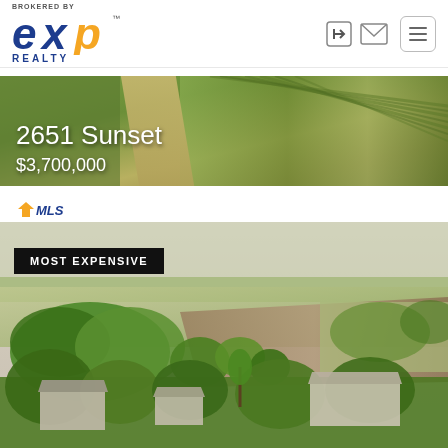[Figure (logo): eXp Realty logo - brokered by eXp Realty with blue and orange branding]
[Figure (photo): Aerial drone photo of farmland with dirt road diagonal path, green crop fields]
2651 Sunset
$3,700,000
[Figure (logo): MLS logo - orange house icon with MLS text]
[Figure (photo): Aerial drone photo of rural property showing farmland, trees, and farm buildings]
MOST EXPENSIVE